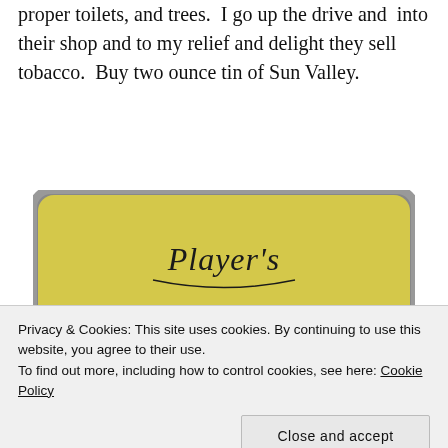proper toilets, and trees.  I go up the drive and  into their shop and to my relief and delight they sell tobacco.  Buy two ounce tin of Sun Valley.
[Figure (photo): Close-up photograph of a Player's Sun Valley tobacco tin. The tin is yellow/gold coloured with rounded corners and a silver metal rim. The top reads 'Player's' in black italic script, below that 'SUN VALLEY' in large bold red letters with dark navy/black outlines, and at the bottom 'FINEST QUALITY' in red capital letters.]
Privacy & Cookies: This site uses cookies. By continuing to use this website, you agree to their use.
To find out more, including how to control cookies, see here: Cookie Policy
Close and accept